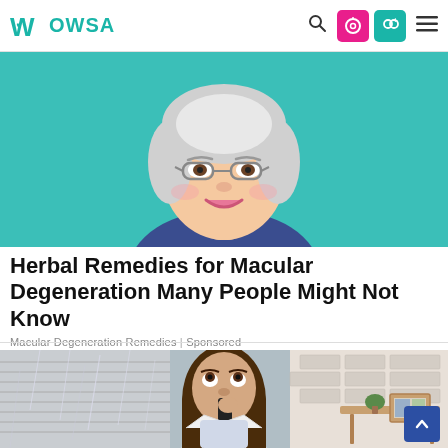Wowsa
[Figure (illustration): Cartoon illustration of an elderly woman with white/gray hair, smiling, wearing a dark navy shirt, against a teal/turquoise background. Shows her from the torso up.]
Herbal Remedies for Macular Degeneration Many People Might Not Know
Macular Degeneration Remedies | Sponsored
[Figure (photo): Photo of a young woman with long brown hair, wearing a white coat, talking on a phone and looking upward, inside a room with windows showing rain, brick wall and shelving visible in background.]